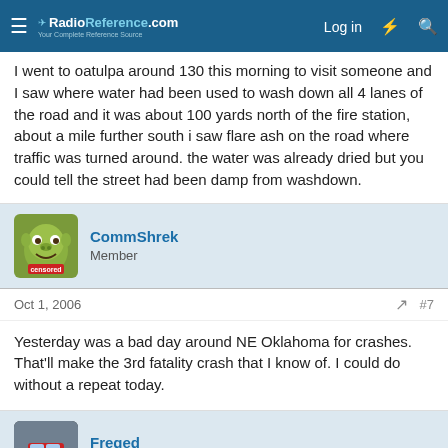RadioReference.com — Log in
I went to Oatulpa around 130 this morning to visit someone and I saw where water had been used to wash down all 4 lanes of the road and it was about 100 yards north of the fire station, about a mile further south i saw flare ash on the road where traffic was turned around. the water was already dried but you could tell the street had been damp from washdown.
CommShrek
Member
Oct 1, 2006  #7
Yesterday was a bad day around NE Oklahoma for crashes. That'll make the 3rd fatality crash that I know of. I could do without a repeat today.
Freqed
I'm just a listener  Premium Subscriber